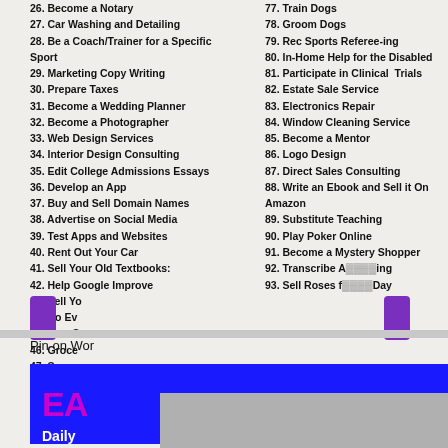26. Become a Notary
27. Car Washing and Detailing
28. Be a Coach/Trainer for a Specific Sport
29. Marketing Copy Writing
30. Prepare Taxes
31. Become a Wedding Planner
32. Become a Photographer
33. Web Design Services
34. Interior Design Consulting
35. Edit College Admissions Essays
36. Develop an App
37. Buy and Sell Domain Names
38. Advertise on Social Media
39. Test Apps and Websites
40. Rent Out Your Car
41. Sell Your Old Textbooks:
42. Help Google Improve
43. Sell Yo[obscured]
44. Do Ev[obscured]
45. Be a S[obscured]
46. Groce[obscured]
47. Snow[obscured]
48. Data E[obscured]
49. Walk D[obscured]
50. Babys[obscured]
77. Train Dogs
78. Groom Dogs
79. Rec Sports Referee-ing
80. In-Home Help for the Disabled
81. Participate in Clinical Trials
82. Estate Sale Service
83. Electronics Repair
84. Window Cleaning Service
85. Become a Mentor
86. Logo Design
87. Direct Sales Consulting
88. Write an Ebook and Sell it On Amazon
89. Substitute Teaching
90. Play Poker Online
91. Become a Mystery Shopper
92. Transcribe A[obscured]ing
93. Sell Roses f[obscured]Day
Pin on Wor[obscured]
[Figure (screenshot): Partial screenshot of a list numbered 26-50 and 77-93 with a gray overlay and CLOSE button obscuring bottom portion. At the bottom is a blue banner with colorful text showing EA/AY and Daily text.]